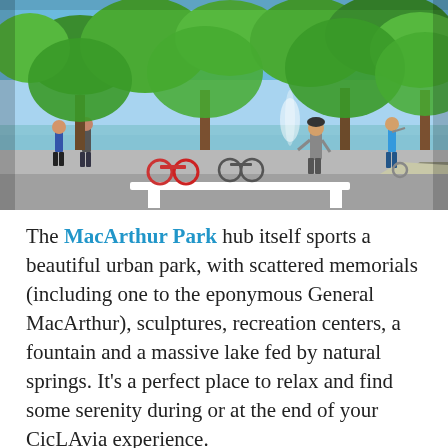[Figure (photo): Outdoor photo of MacArthur Park showing a skateboarder on a ramp in the foreground, with a lake and fountain visible in the background, surrounded by large green trees under a blue sky. Bicycles and other park visitors are visible on a pathway near the lake.]
The MacArthur Park hub itself sports a beautiful urban park, with scattered memorials (including one to the eponymous General MacArthur), sculptures, recreation centers, a fountain and a massive lake fed by natural springs. It's a perfect place to relax and find some serenity during or at the end of your CicLAvia experience.